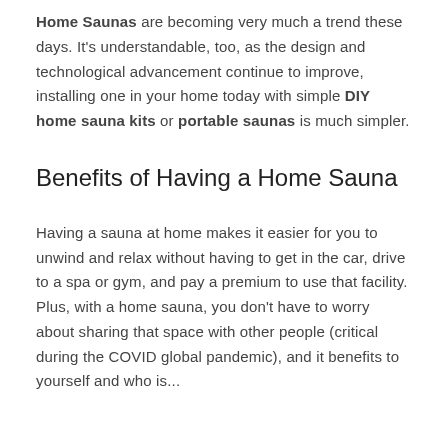Home Saunas are becoming very much a trend these days. It's understandable, too, as the design and technological advancement continue to improve, installing one in your home today with simple DIY home sauna kits or portable saunas is much simpler.
Benefits of Having a Home Sauna
Having a sauna at home makes it easier for you to unwind and relax without having to get in the car, drive to a spa or gym, and pay a premium to use that facility. Plus, with a home sauna, you don't have to worry about sharing that space with other people (critical during the COVID global pandemic), and it benefits to yourself and who is...